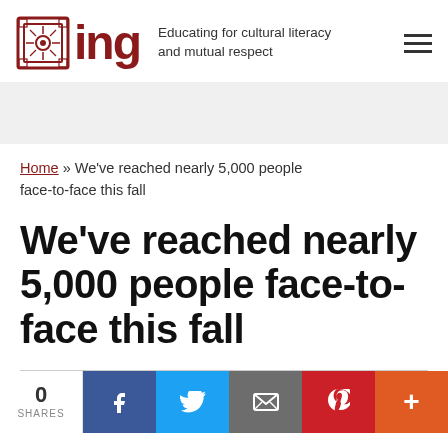ing — Educating for cultural literacy and mutual respect
Home » We've reached nearly 5,000 people face-to-face this fall
We've reached nearly 5,000 people face-to-face this fall
0 SHARES